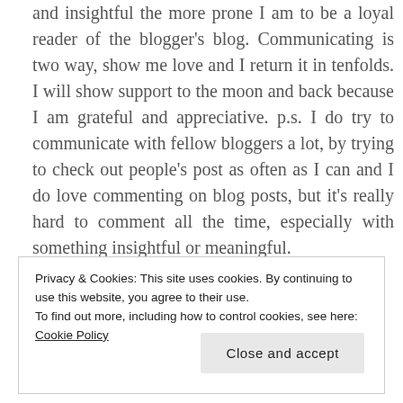and insightful the more prone I am to be a loyal reader of the blogger's blog. Communicating is two way, show me love and I return it in tenfolds. I will show support to the moon and back because I am grateful and appreciative. p.s. I do try to communicate with fellow bloggers a lot, by trying to check out people's post as often as I can and I do love commenting on blog posts, but it's really hard to comment all the time, especially with something insightful or meaningful.
Privacy & Cookies: This site uses cookies. By continuing to use this website, you agree to their use. To find out more, including how to control cookies, see here: Cookie Policy
Close and accept